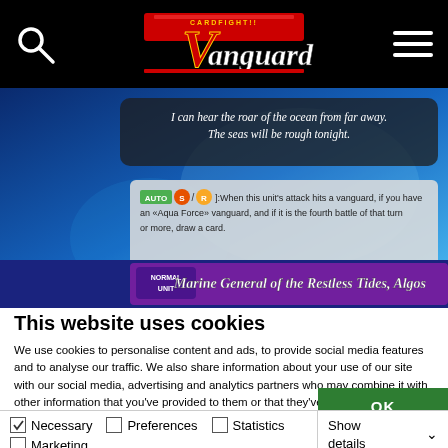[Figure (screenshot): Black navigation header bar with search icon (magnifying glass) on left, Cardfight Vanguard logo in center, hamburger menu icon on right]
[Figure (screenshot): Cardfight Vanguard card image: Marine General of the Restless Tides, Algos. Shows card art with text 'I can hear the roar of the ocean from far away. The seas will be rough tonight.' and AUTO ability text. Bottom banner reads NORMAL UNIT - Marine General of the Restless Tides, Algos.]
This website uses cookies
We use cookies to personalise content and ads, to provide social media features and to analyse our traffic. We also share information about your use of our site with our social media, advertising and analytics partners who may combine it with other information that you've provided to them or that they've collected from your use of their services. You consent to our cookies if you continue to use our website.
OK
Necessary  Preferences  Statistics  Marketing  Show details